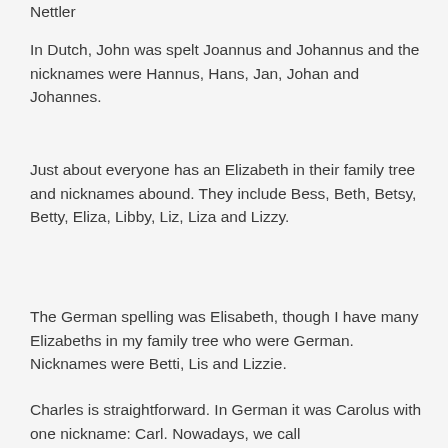Nettler
In Dutch, John was spelt Joannus and Johannus and the nicknames were Hannus, Hans, Jan, Johan and Johannes.
Just about everyone has an Elizabeth in their family tree and nicknames abound. They include Bess, Beth, Betsy, Betty, Eliza, Libby, Liz, Liza and Lizzy.
The German spelling was Elisabeth, though I have many Elizabeths in my family tree who were German. Nicknames were Betti, Lis and Lizzie.
Charles is straightforward. In German it was Carolus with one nickname: Carl. Nowadays, we call